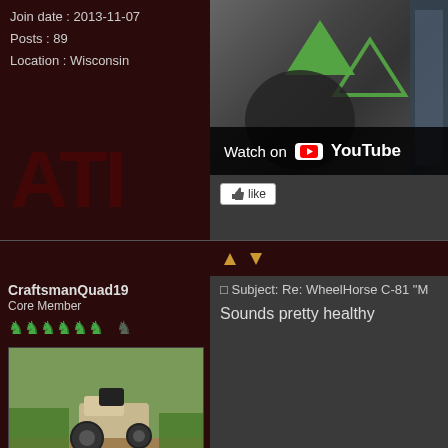Join date : 2013-11-07
Posts : 89
Location : Wisconsin
[Figure (screenshot): YouTube video embed showing dark mechanical objects with green arrow overlays and a 'Watch on YouTube' bar at the bottom]
↑ ↓ (navigation arrows)
CraftsmanQuad19
Core Member
[Figure (photo): A tan/beige riding lawn tractor crossing over a wooden plank or log bridge over a muddy water area, with green grass in the background]
Subject: Re: WheelHorse C-81 "M
Sounds pretty healthy